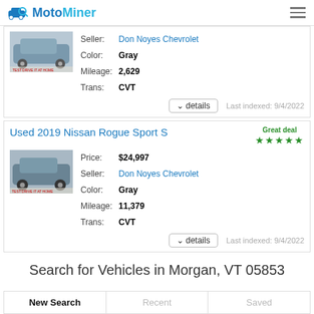MotoMiner
[Figure (photo): Partial view of a car listing card showing a gray SUV image with Seller: Don Noyes Chevrolet, Color: Gray, Mileage: 2,629, Trans: CVT. Last indexed: 9/4/2022]
Used 2019 Nissan Rogue Sport S
[Figure (photo): Photo of a gray Nissan Rogue Sport S SUV in a parking area]
| Field | Value |
| --- | --- |
| Price: | $24,997 |
| Seller: | Don Noyes Chevrolet |
| Color: | Gray |
| Mileage: | 11,379 |
| Trans: | CVT |
Search for Vehicles in Morgan, VT 05853
New Search | Recent | Saved